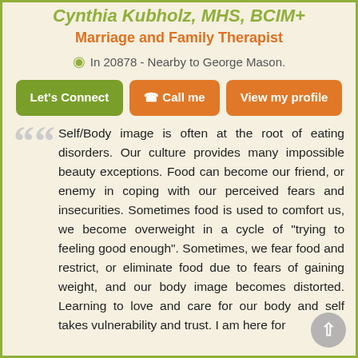Marriage and Family Therapist
In 20878 - Nearby to George Mason.
Let's Connect  Call me  View my profile
Self/Body image is often at the root of eating disorders. Our culture provides many impossible beauty exceptions. Food can become our friend, or enemy in coping with our perceived fears and insecurities. Sometimes food is used to comfort us, we become overweight in a cycle of "trying to feeling good enough". Sometimes, we fear food and restrict, or eliminate food due to fears of gaining weight, and our body image becomes distorted. Learning to love and care for our body and self takes vulnerability and trust. I am here for